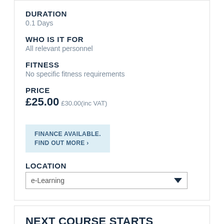DURATION
0.1 Days
WHO IS IT FOR
All relevant personnel
FITNESS
No specific fitness requirements
PRICE
£25.00 £30.00(inc VAT)
FINANCE AVAILABLE. FIND OUT MORE ›
LOCATION
e-Learning
NEXT COURSE STARTS
To book please call the training team on 0370 303...